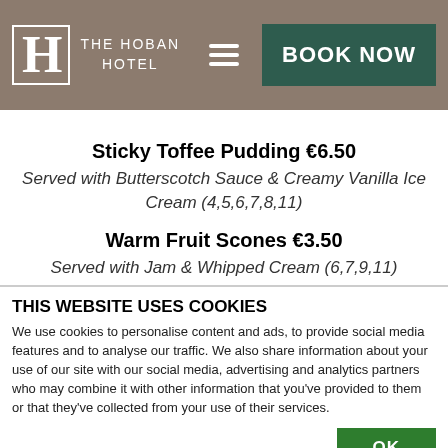[Figure (logo): The Hoban Hotel logo with stylized H lettermark and hotel name, plus hamburger menu icon and BOOK NOW button on taupe background]
Sticky Toffee Pudding €6.50
Served with Butterscotch Sauce & Creamy Vanilla Ice Cream (4,5,6,7,8,11)
Warm Fruit Scones €3.50
Served with Jam & Whipped Cream (6,7,9,11)
THIS WEBSITE USES COOKIES
We use cookies to personalise content and ads, to provide social media features and to analyse our traffic. We also share information about your use of our site with our social media, advertising and analytics partners who may combine it with other information that you've provided to them or that they've collected from your use of their services.
| Necessary  Preferences  Statistics  Marketing | Show details |